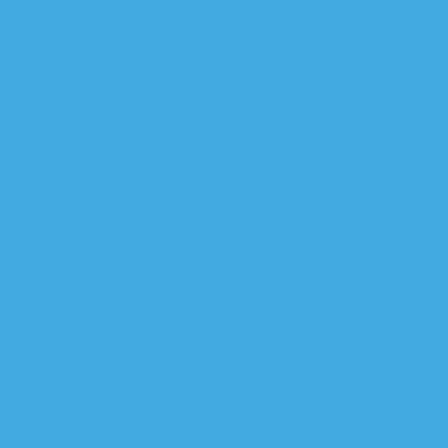[Figure (other): Solid blue background filling the entire page, color approximately #42aae1 (sky blue).]